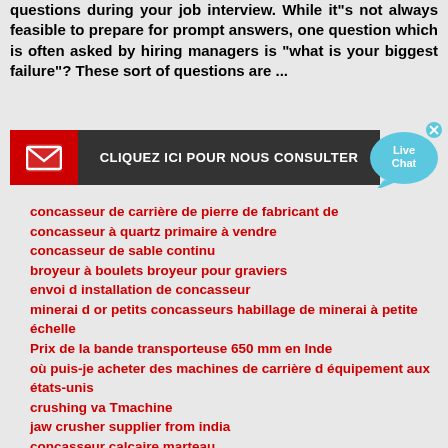questions during your job interview. While it"s not always feasible to prepare for prompt answers, one question which is often asked by hiring managers is "what is your biggest failure"? These sort of questions are ...
[Figure (other): Red and dark grey banner with envelope icon and text: CLIQUEZ ICI POUR NOUS CONSULTER]
[Figure (other): Live Chat bubble icon in blue with X close button]
concasseur de carrière de pierre de fabricant de
concasseur à quartz primaire à vendre
concasseur de sable continu
broyeur à boulets broyeur pour graviers
envoi d installation de concasseur
minerai d or petits concasseurs habillage de minerai à petite échelle
Prix de la bande transporteuse 650 mm en Inde
où puis-je acheter des machines de carrière d équipement aux états-unis
crushing va Tmachine
jaw crusher supplier from india
concasseur calcaire marteau